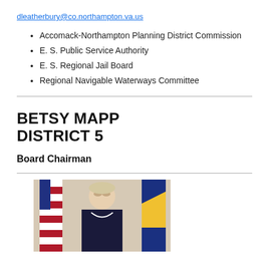dleatherbury@co.northampton.va.us
Accomack-Northampton Planning District Commission
E. S. Public Service Authority
E. S. Regional Jail Board
Regional Navigable Waterways Committee
BETSY MAPP DISTRICT 5
Board Chairman
[Figure (photo): Portrait photo of Betsy Mapp standing in front of American flag and another flag, wearing dark clothing]